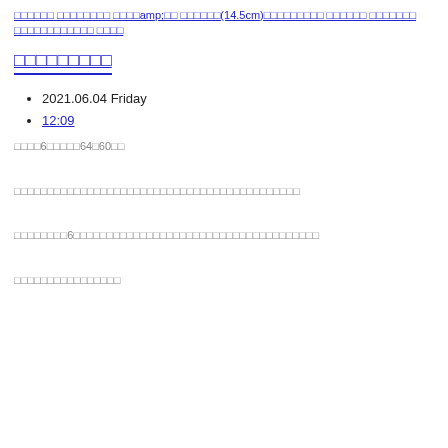□□□□□□ □□□□□□□□ □□□□amp;□□ □□□□□□(14.5cm)□□□□□□□□□ □□□□□□ □□□□□□□ □□□□□□□□□□□□ □□□□
□□□□□□□□□
2021.06.04 Friday
12:09
□□□□6□□□□□64□60□□
□□□□□□□□□□□□□□□□□□□□□□□□□□□□□□□□□□□□□□□□□□□
□□□□□□□□6□□□□□□□□□□□□□□□□□□□□□□□□□□□□□□□□□□□□□
□□□□□□□□□□□□□□□□